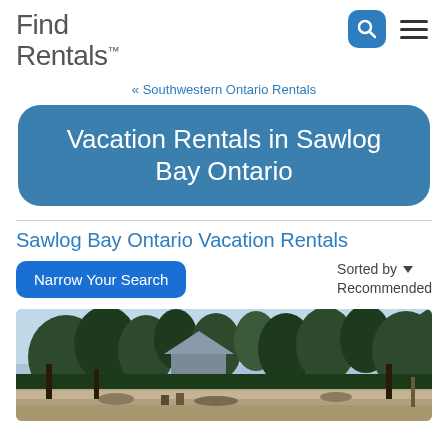Find Rentals
« Southwestern Ontario Rentals
Vacation Rentals in Sawlog Bay Ontario
Sawlog Bay Ontario Vacation Rentals
Narrow Your Search
Sorted by ▼ Recommended
[Figure (photo): Exterior photo of a cottage or vacation rental property surrounded by trees, with a sandy beach or shoreline area in the foreground.]